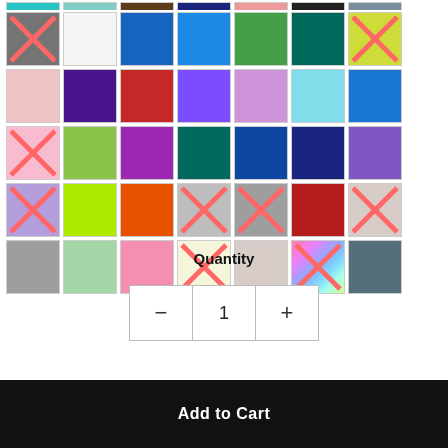[Figure (other): Color swatch grid for yarn product selection. Multiple rows of color swatches, some crossed out with red X marks indicating unavailable options. Colors include gray, white, royal blue, cobalt blue, green, teal, yellow-green, blush, purple, red, violet, lavender, light blue, medium blue, olive green, magenta, dark teal, dark blue, dark navy, dark purple, lime green, orange, silver, dark red, sage gray, mint green, rose pink, cream, beige, holographic, and slate teal.]
Quantity
1
Add to Cart